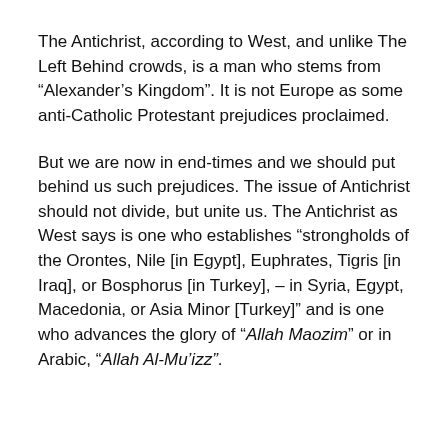The Antichrist, according to West, and unlike The Left Behind crowds, is a man who stems from “Alexander’s Kingdom”. It is not Europe as some anti-Catholic Protestant prejudices proclaimed.
But we are now in end-times and we should put behind us such prejudices. The issue of Antichrist should not divide, but unite us. The Antichrist as West says is one who establishes “strongholds of the Orontes, Nile [in Egypt], Euphrates, Tigris [in Iraq], or Bosphorus [in Turkey], – in Syria, Egypt, Macedonia, or Asia Minor [Turkey]” and is one who advances the glory of “Allah Maozim” or in Arabic, “Allah Al-Mu’izz”.